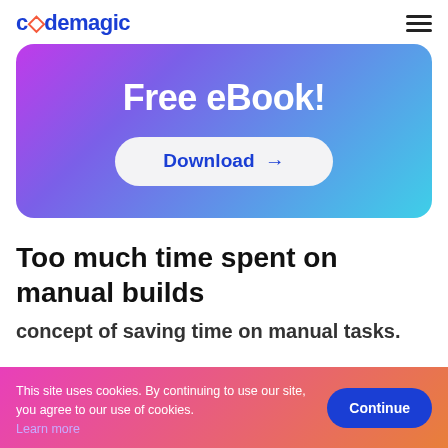codemagic
[Figure (other): Free eBook promotional banner with gradient background (purple to cyan) and Download button]
Too much time spent on manual builds
concept of saving time on manual tasks.
This site uses cookies. By continuing to use our site, you agree to our use of cookies. Learn more